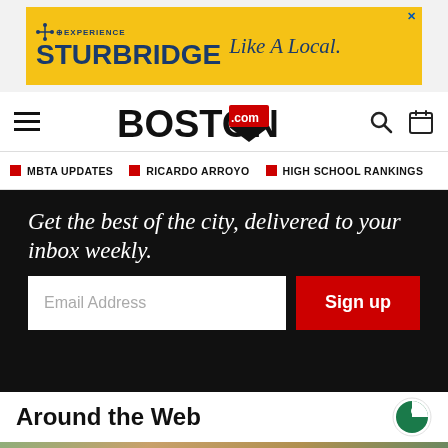[Figure (other): Experience Sturbridge Like A Local advertisement banner with yellow background and blue text, with X close button]
BOSTON.com navigation bar with hamburger menu, Boston.com logo, search icon, and calendar icon
MBTA UPDATES
RICARDO ARROYO
HIGH SCHOOL RANKINGS
Get the best of the city, delivered to your inbox weekly.
Email Address
Sign up
Around the Web
[Figure (photo): Photo of a soldier or military person wearing tactical goggles and camouflage gear, partially cropped at bottom of page]